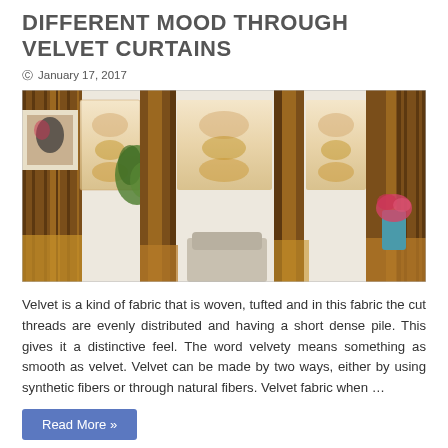DIFFERENT MOOD THROUGH VELVET CURTAINS
January 17, 2017
[Figure (photo): Decorative velvet curtains with embroidered lace panels in brown and gold tones, displayed in a room setting with a chair and flowers]
Velvet is a kind of fabric that is woven, tufted and in this fabric the cut threads are evenly distributed and having a short dense pile. This gives it a distinctive feel. The word velvety means something as smooth as velvet. Velvet can be made by two ways, either by using synthetic fibers or through natural fibers. Velvet fabric when …